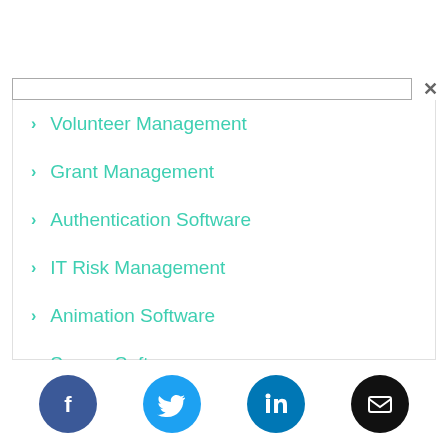Volunteer Management
Grant Management
Authentication Software
IT Risk Management
Animation Software
Survey Software
[Figure (infographic): Social media icons row: Facebook (blue circle), Twitter (light blue circle), LinkedIn (blue circle), Email (black circle)]